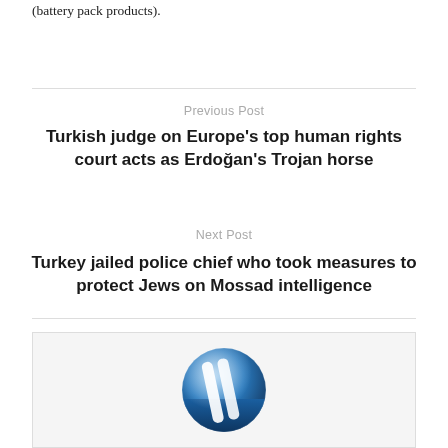(battery pack products).
Previous Post
Turkish judge on Europe's top human rights court acts as Erdoğan's Trojan horse
Next Post
Turkey jailed police chief who took measures to protect Jews on Mossad intelligence
[Figure (logo): Blue circular logo with two white diagonal stripes]